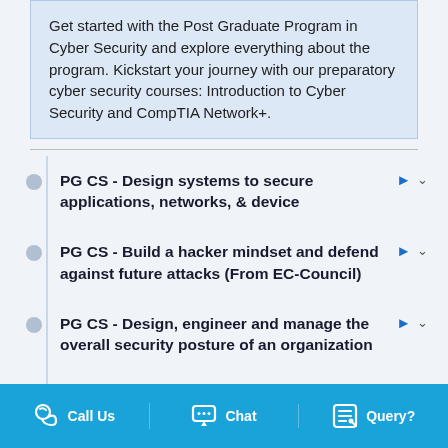Get started with the Post Graduate Program in Cyber Security and explore everything about the program. Kickstart your journey with our preparatory cyber security courses: Introduction to Cyber Security and CompTIA Network+.
PG CS - Design systems to secure applications, networks, & device
PG CS - Build a hacker mindset and defend against future attacks (From EC-Council)
PG CS - Design, engineer and manage the overall security posture of an organization
PG CS - Cyber Security - Technology, Application, and Policy (From MIT SCC)
Call Us  Chat  Query?